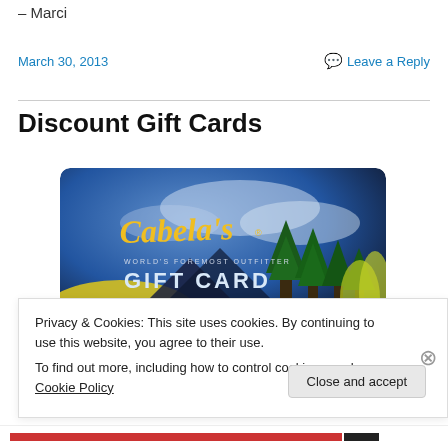— Marci
March 30, 2013
Leave a Reply
Discount Gift Cards
[Figure (photo): Cabela's World's Foremost Outfitter Gift Card image showing mountains, trees, and yellow flowers under a dramatic blue sky.]
Privacy & Cookies: This site uses cookies. By continuing to use this website, you agree to their use.
To find out more, including how to control cookies, see here: Cookie Policy
Close and accept